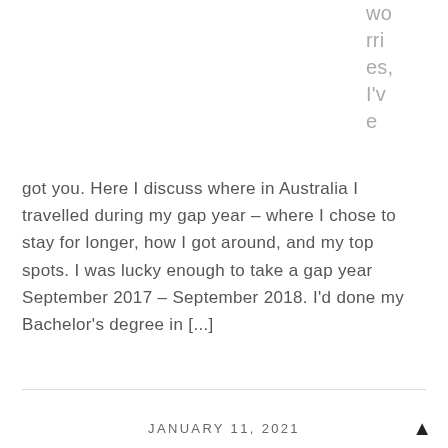worries, I've e
got you. Here I discuss where in Australia I travelled during my gap year – where I chose to stay for longer, how I got around, and my top spots. I was lucky enough to take a gap year September 2017 – September 2018. I'd done my Bachelor's degree in [...]
CONTINUE READING
JANUARY 11, 2021